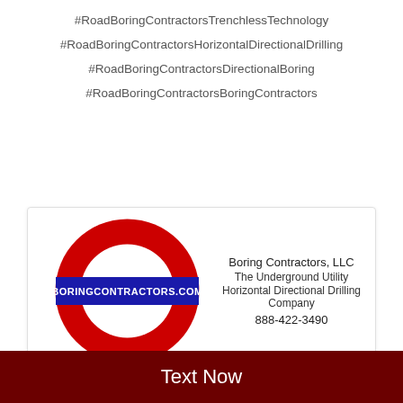#RoadBoringContractorsTrenchlessTechnology
#RoadBoringContractorsHorizontalDirectionalDrilling
#RoadBoringContractorsDirectionalBoring
#RoadBoringContractorsBoringContractors
[Figure (logo): Boring Contractors LLC logo: red ring circle with blue rectangular banner reading BORINGCONTRACTORS.COM in white text, styled like a London Underground roundel]
Boring Contractors, LLC
The Underground Utility
Horizontal Directional Drilling Company
888-422-3490
Text Now